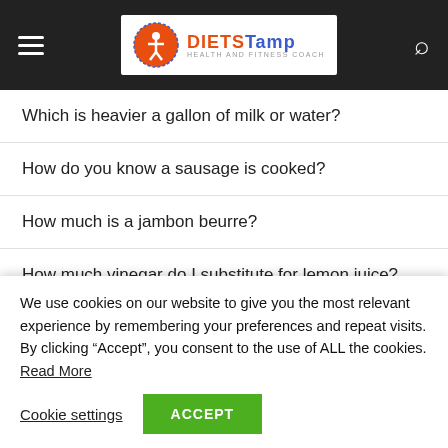DietStamp Health and Fitness Coach
Which is heavier a gallon of milk or water?
How do you know a sausage is cooked?
How much is a jambon beurre?
How much vinegar do I substitute for lemon juice?
What Makes Creuset Pots So Special?
We use cookies on our website to give you the most relevant experience by remembering your preferences and repeat visits. By clicking “Accept”, you consent to the use of ALL the cookies. Read More
Cookie settings  ACCEPT